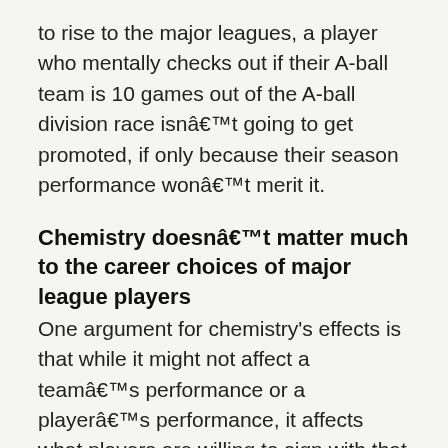to rise to the major leagues, a player who mentally checks out if their A-ball team is 10 games out of the A-ball division race isnâ€™t going to get promoted, if only because their season performance wonâ€™t merit it.
Chemistry doesnâ€™t matter much to the career choices of major league players
One argument for chemistry’s effects is that while it might not affect a teamâ€™s performance or a playerâ€™s performance, it affects what players are willing to sign with that team, and for how much.
This is pretty clearly not true.
Players sign with competitive clubs with supposedly bad chemistry.
Players sign with struggling clubs with bad chemistry.